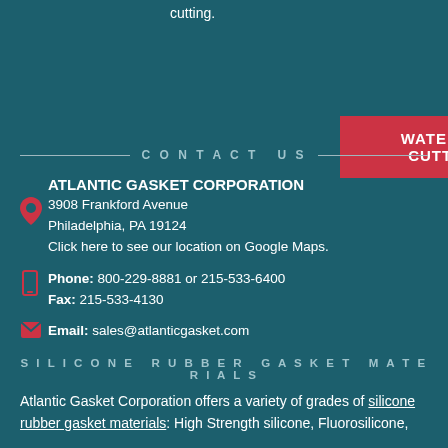cutting.
WATERJET CUTTING
CONTACT US
ATLANTIC GASKET CORPORATION
3908 Frankford Avenue
Philadelphia, PA 19124
Click here to see our location on Google Maps.
Phone: 800-229-8881 or 215-533-6400
Fax: 215-533-4130
Email: sales@atlanticgasket.com
SILICONE RUBBER GASKET MATERIALS
Atlantic Gasket Corporation offers a variety of grades of silicone rubber gasket materials: High Strength silicone, Fluorosilicone,